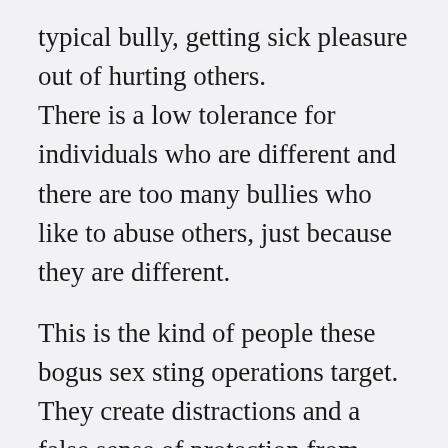typical bully, getting sick pleasure out of hurting others. There is a low tolerance for individuals who are different and there are too many bullies who like to abuse others, just because they are different.

This is the kind of people these bogus sex sting operations target. They create distractions and a false sense of protection from “child predators”, when in reality they are actually increasing the risk and